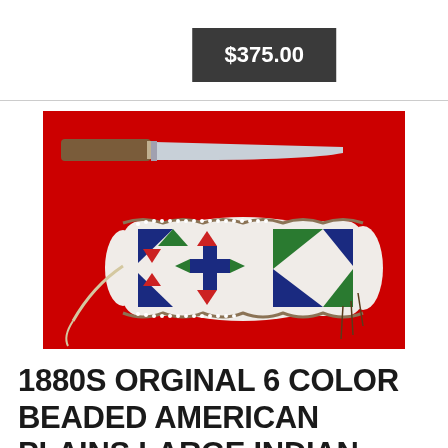$375.00
[Figure (photo): A photo of a historical knife with a wooden handle and steel blade, displayed above a decorative beaded Native American knife sheath with blue, green, white, and red geometric bead patterns, set against a bright red background.]
1880S ORGINAL 6 COLOR BEADED AMERICAN PLAINS LARGE INDIAN SHEATHSKINNING KNIFE